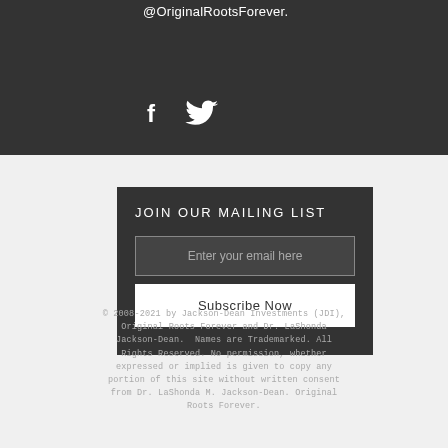@OriginalRootsForever.
[Figure (illustration): Facebook and Twitter social media icons in white on dark background]
JOIN OUR MAILING LIST
Enter your email here
Subscribe Now
© 2008-2021 by Jackson-Dean Investments (JDI), Original Roots Forever and Dr. LaShonda Jackson-Dean.  Names are Trademarked. All Rights Reserved. No permission, whether expressed or implied is given to copy any portion of this site without written consent from Dr. LaShonda M. Jackson-Dean. Original Roots Forever.